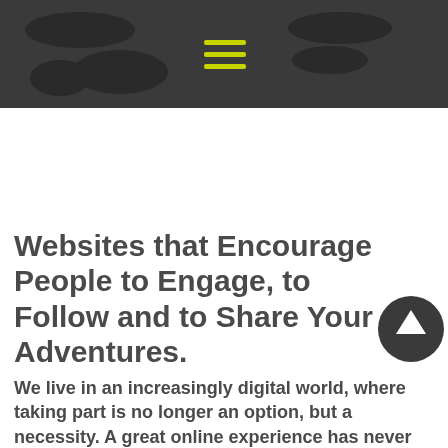[Figure (screenshot): Dark grey header bar with hamburger menu icon (three yellow-green horizontal lines) and dark silhouette shapes on left side]
Websites that Encourage People to Engage, to Follow and to Share Your Adventures.
We live in an increasingly digital world, where taking part is no longer an option, but a necessity. A great online experience has never been more important than for adventure travel